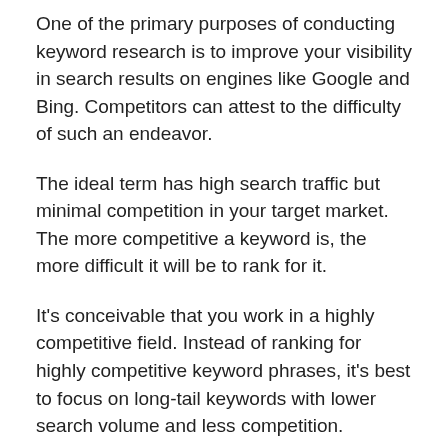One of the primary purposes of conducting keyword research is to improve your visibility in search results on engines like Google and Bing. Competitors can attest to the difficulty of such an endeavor.
The ideal term has high search traffic but minimal competition in your target market. The more competitive a keyword is, the more difficult it will be to rank for it.
It's conceivable that you work in a highly competitive field. Instead of ranking for highly competitive keyword phrases, it's best to focus on long-tail keywords with lower search volume and less competition.
It's critical to recognize the distinction between paid and natural competition. Google's free Keyword